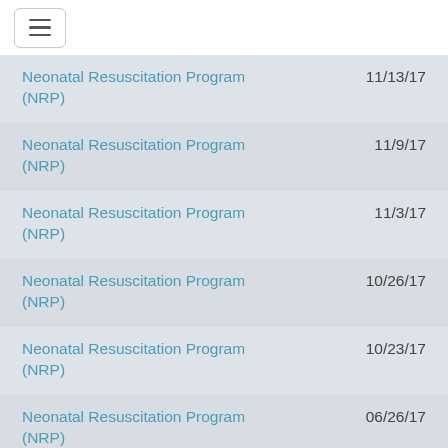Neonatal Resuscitation Program (NRP)  11/13/17
Neonatal Resuscitation Program (NRP)  11/9/17
Neonatal Resuscitation Program (NRP)  11/3/17
Neonatal Resuscitation Program (NRP)  10/26/17
Neonatal Resuscitation Program (NRP)  10/23/17
Neonatal Resuscitation Program (NRP)  06/26/17